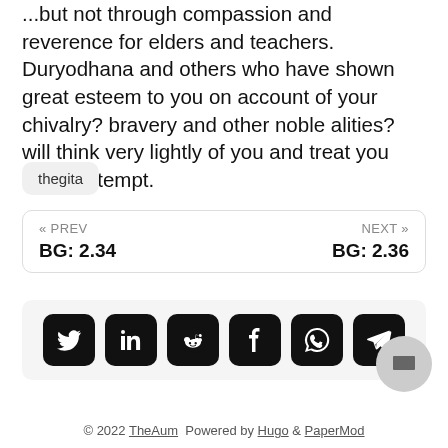...but not through compassion and reverence for elders and teachers. Duryodhana and others who have shown great esteem to you on account of your chivalry? bravery and other noble alities? will think very lightly of you and treat you with contempt.
thegita
« PREV  BG: 2.34     NEXT »  BG: 2.36
[Figure (infographic): Social share buttons: Twitter, LinkedIn, Reddit, Facebook, WhatsApp, Telegram]
© 2022 TheAum  Powered by Hugo & PaperMod